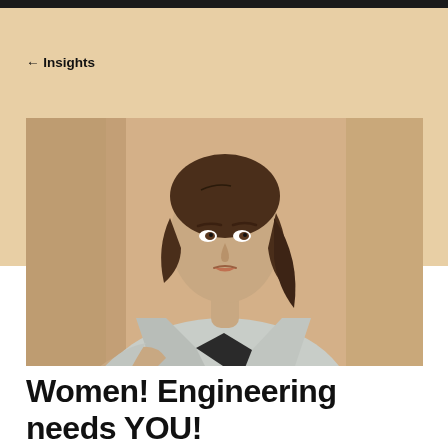← Insights
[Figure (photo): Portrait photograph of a professional woman with brown hair wearing a light grey blazer over a dark top, standing against a beige/tan background, looking toward the camera with a neutral expression.]
Women! Engineering needs YOU!